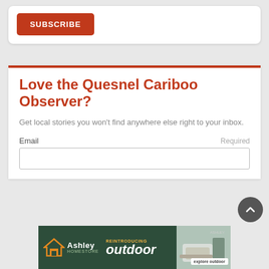SUBSCRIBE
Love the Quesnel Cariboo Observer?
Get local stories you won't find anywhere else right to your inbox.
Email   Required
[Figure (screenshot): Ashley HomeStore advertisement banner: REINTRODUCING outdoor, with house logo and explore outdoor button]